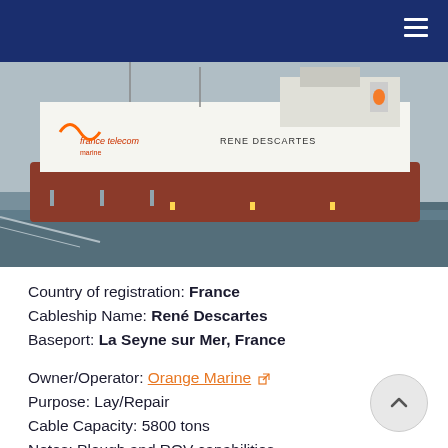[Figure (photo): Photograph of the cable ship René Descartes docked at port. The white ship has 'france telecom marine' branding and 'RENE DESCARTES' written on its hull. The ship has a red/rust-colored lower hull.]
Country of registration: France
Cableship Name: René Descartes
Baseport: La Seyne sur Mer, France
Owner/Operator: Orange Marine
Purpose: Lay/Repair
Cable Capacity: 5800 tons
Notes: Plough and ROV capabilities